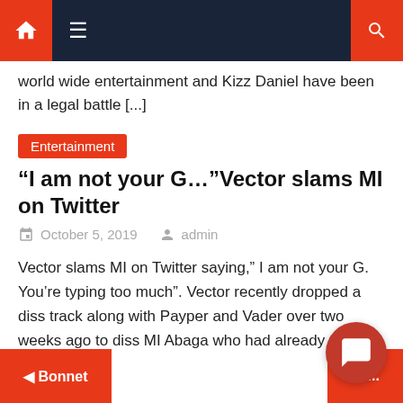Navigation bar with home, menu, and search icons
world wide entertainment and Kizz Daniel have been in a legal battle [...]
Entertainment
“I am not your G…”Vector slams MI on Twitter
October 5, 2019   admin
Vector slams MI on Twitter saying,” I am not your G. You’re typing too much”. Vector recently dropped a diss track along with Payper and Vader over two weeks ago to diss MI Abaga who had already thrown jibes at him in a previous record. Well, Vector’s diss track sparked   LIVE CHAT. Agent Online   [...]
◄ Bonnet    Tu...